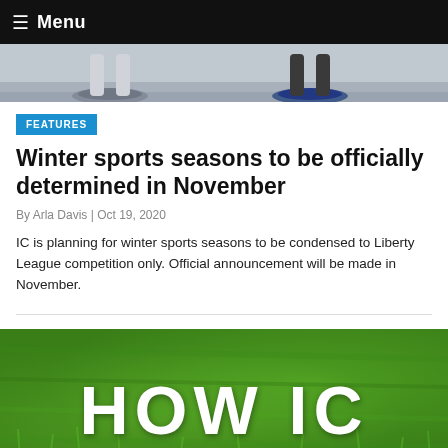≡ Menu
[Figure (photo): Photo of sneakers/shoes on a gym or hardwood floor, cropped to show feet and lower legs]
FEATURES
Winter sports seasons to be officially determined in November
By Arla Davis | Oct 19, 2020
IC is planning for winter sports seasons to be condensed to Liberty League competition only. Official announcement will be made in November.
[Figure (photo): Photo of green grass with large white text reading 'HOW IC']